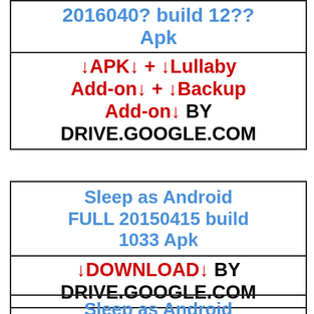| 2016040? build 12?? Apk |
| ↓APK↓ + ↓Lullaby Add-on↓ + ↓Backup Add-on↓ BY DRIVE.GOOGLE.COM |
| Sleep as Android FULL 20150415 build 1033 Apk |
| ↓DOWNLOAD↓ BY DRIVE.GOOGLE.COM |
| Sleep as Android |